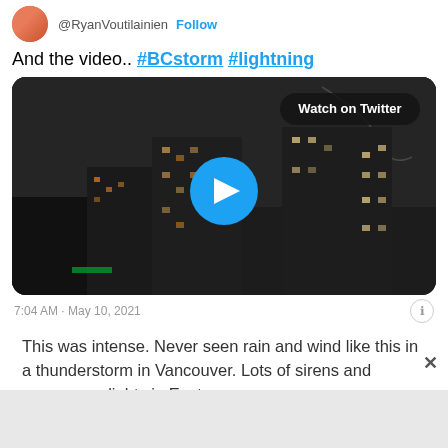@RyanVoutilainien  Follow
And the video.. #BCstorm #lightning
[Figure (screenshot): Twitter/X embedded video thumbnail showing nighttime cityscape of Vancouver with tall buildings lit up. A 'Watch on Twitter' button appears in the top right. A large blue circular play button is centered over the image.]
7:04 AM · May 10, 2021
This was intense. Never seen rain and wind like this in a thunderstorm in Vancouver. Lots of sirens and emergency lights in East